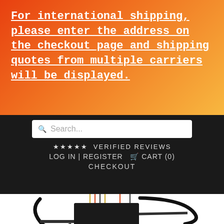For international shipping, please enter the address on the checkout page and shipping quotes from multiple carriers will be displayed.
[Figure (screenshot): Website navigation bar with search box, verified reviews stars, log in/register/cart links, and checkout link on dark background]
[Figure (photo): Electronic control module/relay box with wiring harness and a circular cable loop on white background]